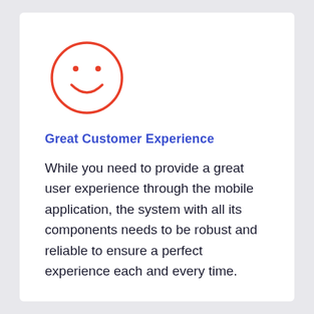[Figure (illustration): A red hand-drawn smiley face circle with two red dot eyes and a red curved smile arc, on white background]
Great Customer Experience
While you need to provide a great user experience through the mobile application, the system with all its components needs to be robust and reliable to ensure a perfect experience each and every time.